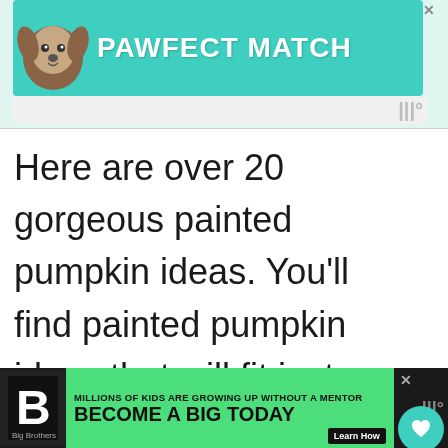[Figure (screenshot): Advertisement banner showing a dog image with text 'PAWFECT MATCH' on a teal background]
Here are over 20 gorgeous painted pumpkin ideas. You'll find painted pumpkin ideas that will fit just about every decor.
[Figure (screenshot): Bottom advertisement banner for Big Brothers Big Sisters: 'MILLIONS OF KIDS ARE GROWING UP WITHOUT A MENTOR BECOME A BIG TODAY' with Learn How button]